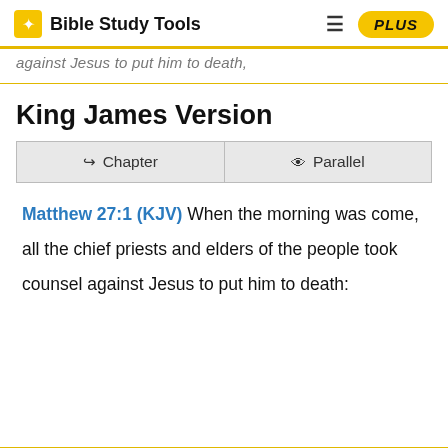Bible Study Tools   ≡   PLUS
against Jesus to put him to death,
King James Version
➤ Chapter   👁 Parallel
Matthew 27:1 (KJV) When the morning was come, all the chief priests and elders of the people took counsel against Jesus to put him to death: